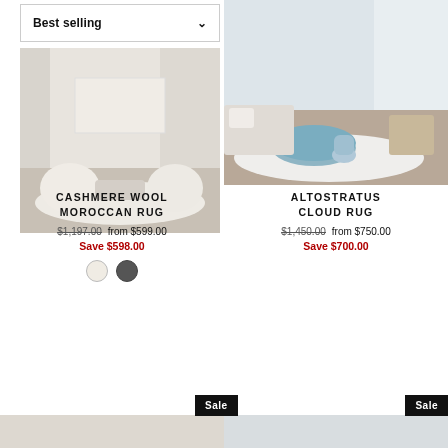[Figure (screenshot): Dropdown filter control labeled 'Best selling' with chevron arrow]
[Figure (photo): Interior living room with white/cream rug, round sofa chairs, and coffee table - Cashmere Wool Moroccan Rug product photo]
[Figure (photo): Interior living room with light blue round coffee table, white fluffy rug, and chairs - Altostratus Cloud Rug product photo]
CASHMERE WOOL MOROCCAN RUG
$1,197.00  from $599.00
Save $598.00
ALTOSTRATUS CLOUD RUG
$1,450.00  from $750.00
Save $700.00
Sale
Sale